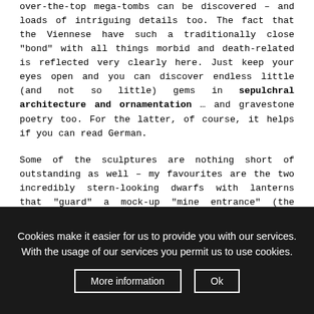over-the-top mega-tombs can be discovered – and loads of intriguing details too. The fact that the Viennese have such a traditionally close "bond" with all things morbid and death-related is reflected very clearly here. Just keep your eyes open and you can discover endless little (and not so little) gems in sepulchral architecture and ornamentation … and gravestone poetry too. For the latter, of course, it helps if you can read German.

Some of the sculptures are nothing short of outstanding as well – my favourites are the two incredibly stern-looking dwarfs with lanterns that "guard" a mock-up "mine entrance" (the deceased was some kind of mining magnate). You'll find it in the left-hand section of the old arcades just beyond the main gate (Tor 2) en route to the central church.
Cookies make it easier for us to provide you with our services. With the usage of our services you permit us to use cookies.